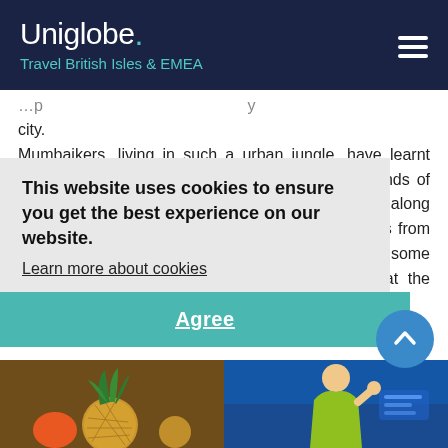Uniglobe. Travel British Isles & EMEA
city.
Mumbaikers, living in such a urban jungle, have learnt how to get the best deals out of the city's thousands of vendors. A Mumbaiker would tell you that the stalls along MG Road boast some great quality signature items from brand manufacturers, that Colaba Causeway offers some of the best knickknacks in town, or that fruit at the Crawford ... lots of choices ... however, have to
This website uses cookies to ensure you get the best experience on our website.
Learn more about cookies
Agree
[Figure (photo): Photo of pineapple and fruits at a market stall]
[Figure (photo): Photo of a person in a yellow/green outfit against a blue background]